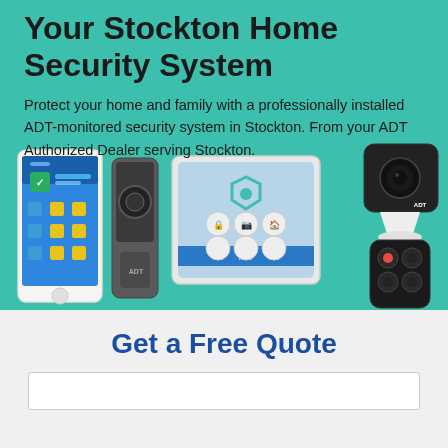Your Stockton Home Security System
Protect your home and family with a professionally installed ADT-monitored security system in Stockton. From your ADT Authorized Dealer serving Stockton.
[Figure (photo): ADT security system devices including a smartphone app showing 'Disarmed' status, a video doorbell, a touchscreen security panel, a security camera on a stand, and a key fob remote control, all displayed on a teal/green background.]
Get a Free Quote